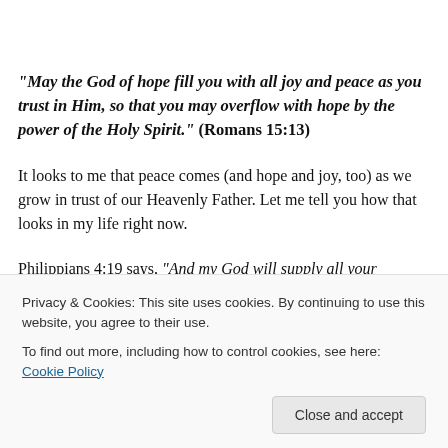“May the God of hope fill you with all joy and peace as you trust in Him, so that you may overflow with hope by the power of the Holy Spirit.” (Romans 15:13)
It looks to me that peace comes (and hope and joy, too) as we grow in trust of our Heavenly Father. Let me tell you how that looks in my life right now.
Philippians 4:19 says, “And my God will supply all your
misbehaving or I haven’t had a date night in awhile, then I
Privacy & Cookies: This site uses cookies. By continuing to use this website, you agree to their use.
To find out more, including how to control cookies, see here: Cookie Policy
Close and accept